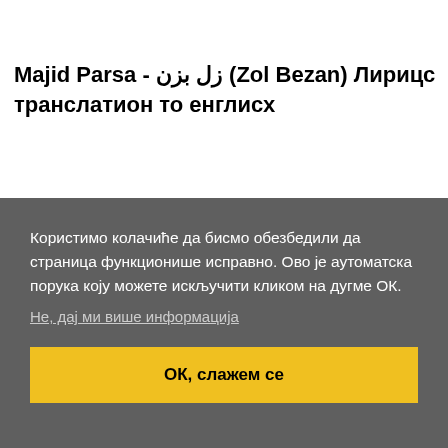Majid Parsa - زل بزن (Zol Bezan) Лирицс транслатион то енглисх
Користимо колачиће да бисмо обезбедили да страница функционише исправно. Ово је аутоматска порука коју можете искључити кликом на дугме ОК.
Не, дај ми више информација
ОК, слажем се